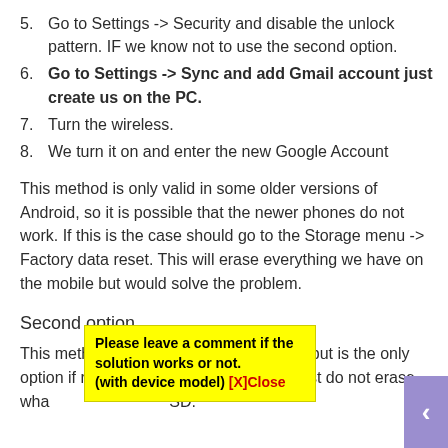5. Go to Settings -> Security and disable the unlock pattern. IF we know not to use the second option.
6. Go to Settings -> Sync and add Gmail account just create us on the PC.
7. Turn the wireless.
8. We turn it on and enter the new Google Account
This method is only valid in some older versions of Android, so it is possible that the newer phones do not work. If this is the case should go to the Storage menu -> Factory data reset. This will erase everything we have on the mobile but would solve the problem.
Second option
This method is harmful with mobile data, but is the only option if reu[other method can be used] worked. Just do not erase wha[t is on the] SD.
Please leave a comment if the solution works or not. (with device model) [X]Close